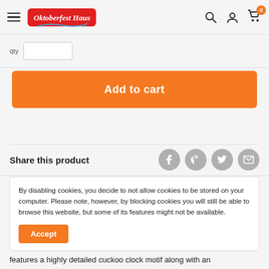Ohtoberfest Haus
Add to cart
Share this product
By disabling cookies, you decide to not allow cookies to be stored on your computer.  Please note, however, by blocking cookies you will still be able to browse this website, but some of its features might not be available.
Accept
features a highly detailed cuckoo clock motif along with an